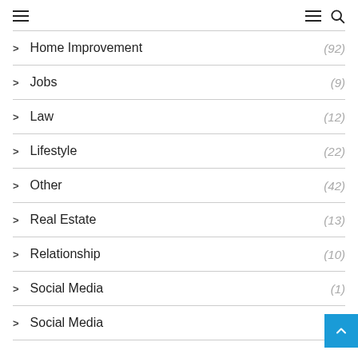Navigation menu with hamburger and search icons
Home Improvement (92)
Jobs (9)
Law (12)
Lifestyle (22)
Other (42)
Real Estate (13)
Relationship (10)
Social Media (1)
Social Media